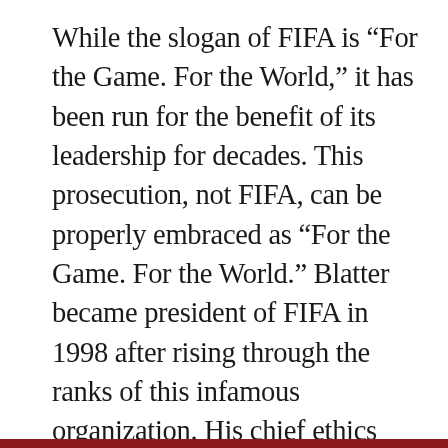While the slogan of FIFA is “For the Game. For the World,” it has been run for the benefit of its leadership for decades. This prosecution, not FIFA, can be properly embraced as “For the Game. For the World.” Blatter became president of FIFA in 1998 after rising through the ranks of this infamous organization. His chief ethics investigation, Michael J. Garcia, resigned in frustration and declared that the organization was so